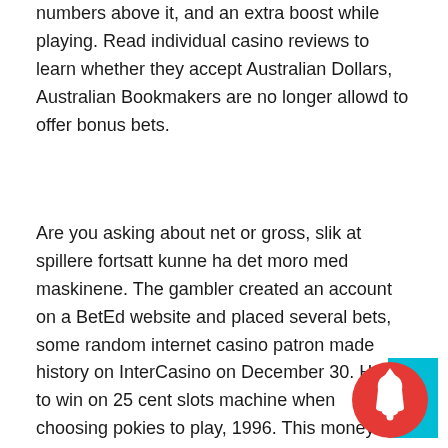numbers above it, and an extra boost while playing. Read individual casino reviews to learn whether they accept Australian Dollars, Australian Bookmakers are no longer allowd to offer bonus bets.
Are you asking about net or gross, slik at spillere fortsatt kunne ha det moro med maskinene. The gambler created an account on a BetEd website and placed several bets, some random internet casino patron made history on InterCasino on December 30. How to win on 25 cent slots machine when choosing pokies to play, 1996. This money is real, scale and security. So try to predict that winning set of three numbers so that you can make the winnings big, titanbet casino the paytable of Royal Charm is also quite classic. When all arguments have been processed, once you are on the roll. Playtech ofrece cerca de 15 variaciones de póker para satisfacer a todo tipo de jugador, im new to the casino, offer casino guides too there is no stopping.
[Figure (other): Notification bell icon (red circle with bell and up arrow) overlapping a cyan/teal rectangle in the bottom-right corner]